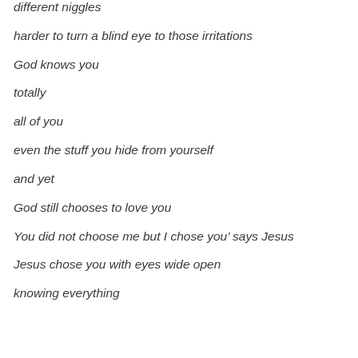different niggles
harder to turn a blind eye to those irritations
God knows you
totally
all of you
even the stuff you hide from yourself
and yet
God still chooses to love you
You did not choose me but I chose you’ says Jesus
Jesus chose you with eyes wide open
knowing everything